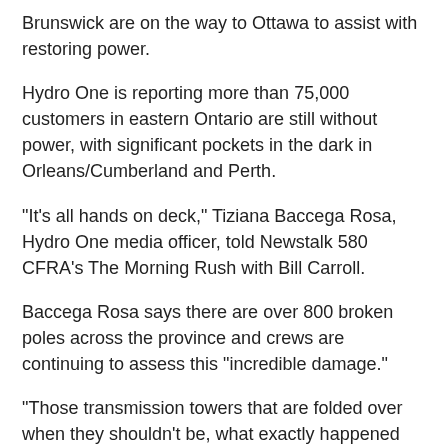Brunswick are on the way to Ottawa to assist with restoring power.
Hydro One is reporting more than 75,000 customers in eastern Ontario are still without power, with significant pockets in the dark in Orleans/Cumberland and Perth.
"It's all hands on deck," Tiziana Baccega Rosa, Hydro One media officer, told Newstalk 580 CFRA's The Morning Rush with Bill Carroll.
Baccega Rosa says there are over 800 broken poles across the province and crews are continuing to assess this "incredible damage."
"Those transmission towers that are folded over when they shouldn't be, what exactly happened there."
Four Hydro One transmission towers were toppled by the storm in the Ottawa area.